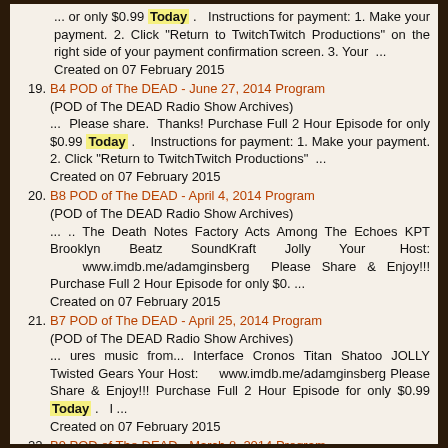... or only $0.99 Today . Instructions for payment: 1. Make your payment. 2. Click "Return to TwitchTwitch Productions" on the right side of your payment confirmation screen. 3. Your ...
Created on 07 February 2015
19. B4 POD of The DEAD - June 27, 2014 Program
(POD of The DEAD Radio Show Archives)
... Please share. Thanks! Purchase Full 2 Hour Episode for only $0.99 Today . Instructions for payment: 1. Make your payment. 2. Click "Return to TwitchTwitch Productions" ...
Created on 07 February 2015
20. B8 POD of The DEAD - April 4, 2014 Program
(POD of The DEAD Radio Show Archives)
... .. The Death Notes Factory Acts Among The Echoes KPT Brooklyn Beatz SoundKraft Jolly Your Host: www.imdb.me/adamginsberg Please Share & Enjoy!!! Purchase Full 2 Hour Episode for only $0. ...
Created on 07 February 2015
21. B7 POD of The DEAD - April 25, 2014 Program
(POD of The DEAD Radio Show Archives)
... ures music from... Interface Cronos Titan Shatoo JOLLY Twisted Gears Your Host: www.imdb.me/adamginsberg Please Share & Enjoy!!! Purchase Full 2 Hour Episode for only $0.99 Today . I ...
Created on 07 February 2015
22. B9 POD of The DEAD - March 8, 2014 Program
(POD of The DEAD Radio Show Archives)
... hanks for listening to our show. Purchase Full 2 Hour Episode for only $0.99 Today . Instructions for payment: 1. Make your payment. 2. Click "Return to TwitchTwitch